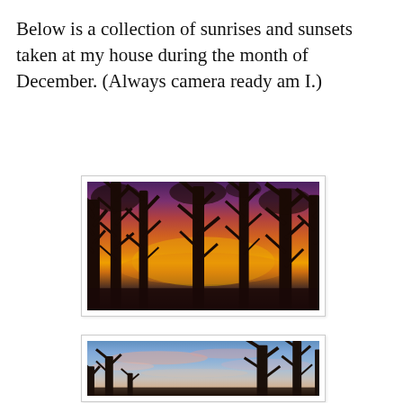Below is a collection of sunrises and sunsets taken at my house during the month of December. (Always camera ready am I.)
[Figure (photo): A December sunset photograph showing bare tree silhouettes against a vivid orange, red, and purple sky]
[Figure (photo): A December sunrise or sunset photograph showing bare tree silhouettes against a blue sky with pink and peach clouds]